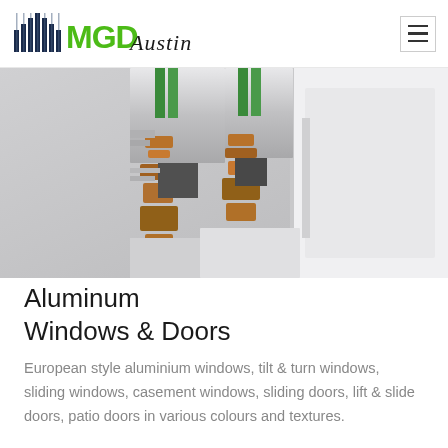[Figure (logo): MGD Austin company logo with green building graphic and stylized text]
[Figure (photo): Close-up cross-section photo of aluminium window/door frame profiles showing internal components including seals, gaskets, and hardware in silver, green, and orange/bronze colours]
Aluminum Windows & Doors
European style aluminium windows, tilt & turn windows, sliding windows, casement windows, sliding doors, lift & slide doors, patio doors in various colours and textures.